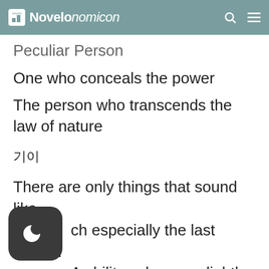Novelonomicon
Peculiar Person
One who conceals the power
The person who transcends the law of nature
기이
There are only things that sound like ch... especially the last thing… A... ability values…. slightly higher?
I will have to compare it with my fath er's